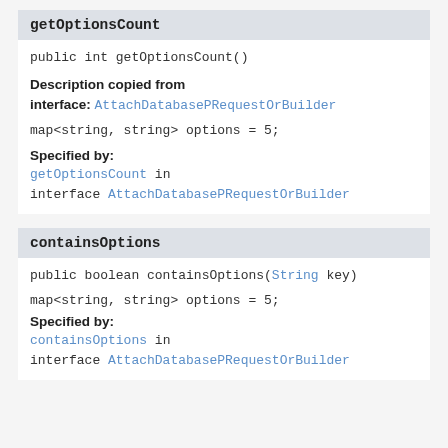getOptionsCount
public int getOptionsCount()
Description copied from interface: AttachDatabasePRequestOrBuilder
map<string, string> options = 5;
Specified by:
getOptionsCount in interface AttachDatabasePRequestOrBuilder
containsOptions
public boolean containsOptions(String key)
map<string, string> options = 5;
Specified by:
containsOptions in interface AttachDatabasePRequestOrBuilder